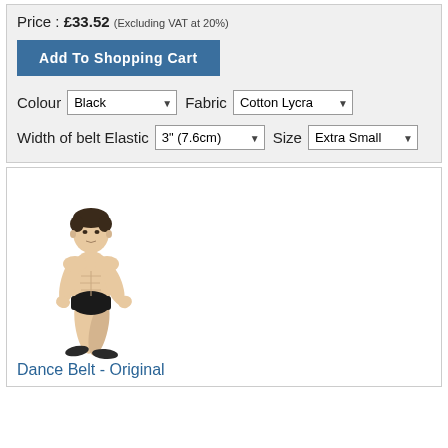Price : £33.52 (Excluding VAT at 20%)
Add To Shopping Cart
Colour  Black  Fabric  Cotton Lycra
Width of belt Elastic  3" (7.6cm)  Size  Extra Small
[Figure (photo): A male dancer in a black dance belt/thong, posed in a dance stance, shown full body on white background]
Dance Belt - Original